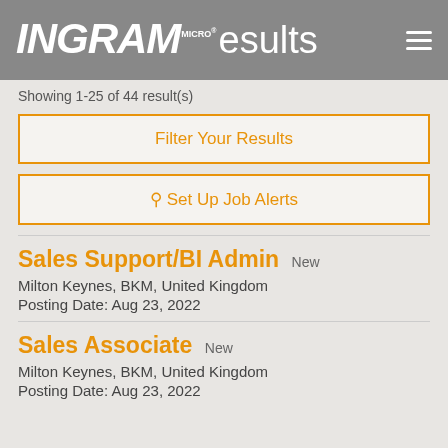INGRAM MICRO Results
Showing 1-25 of 44 result(s)
Filter Your Results
Set Up Job Alerts
Sales Support/BI Admin New
Milton Keynes, BKM, United Kingdom
Posting Date: Aug 23, 2022
Sales Associate New
Milton Keynes, BKM, United Kingdom
Posting Date: Aug 23, 2022